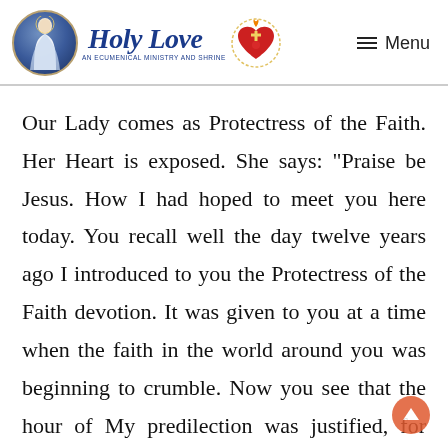Holy Love — An Ecumenical Ministry and Shrine | Menu
Our Lady comes as Protectress of the Faith. Her Heart is exposed. She says: "Praise be Jesus. How I had hoped to meet you here today. You recall well the day twelve years ago I introduced to you the Protectress of the Faith devotion. It was given to you at a time when the faith in the world around you was beginning to crumble. Now you see that the hour of My predilection was justified, for faith in hearts has been reduced to a glimmer through compromise and confusion. Jesus warned you